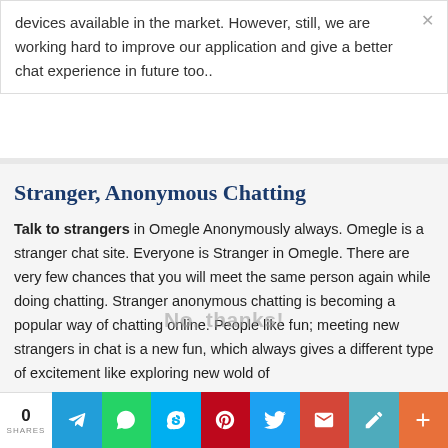devices available in the market. However, still, we are working hard to improve our application and give a better chat experience in future too..
Stranger, Anonymous Chatting
Talk to strangers in Omegle Anonymously always. Omegle is a stranger chat site. Everyone is Stranger in Omegle. There are very few chances that you will meet the same person again while doing chatting. Stranger anonymous chatting is becoming a popular way of chatting online. People like fun; meeting new strangers in chat is a new fun, which always gives a different type of excitement like exploring new wold of
0 SHARES | Telegram | WhatsApp | Skype | Pinterest | Twitter | Gmail | Pen | Plus